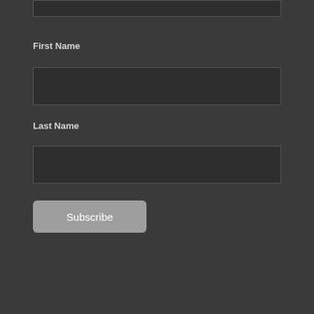[Figure (screenshot): A dark-themed web form with a partially visible input box at the top, a First Name label and input field, a Last Name label and input field, and a Subscribe button.]
First Name
Last Name
Subscribe